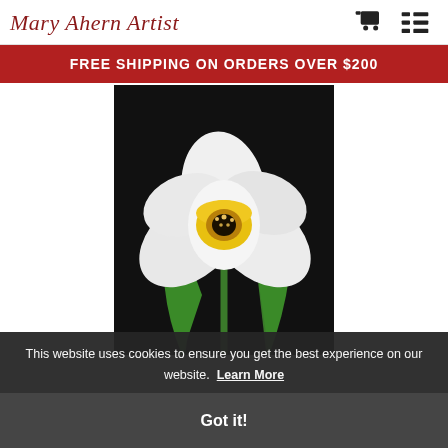Mary Ahern Artist
FREE SHIPPING ON ORDERS OVER $200
[Figure (photo): Close-up photo of a white daffodil with a yellow center cup and green stems/leaves against a black background]
This website uses cookies to ensure you get the best experience on our website. Learn More
Got it!